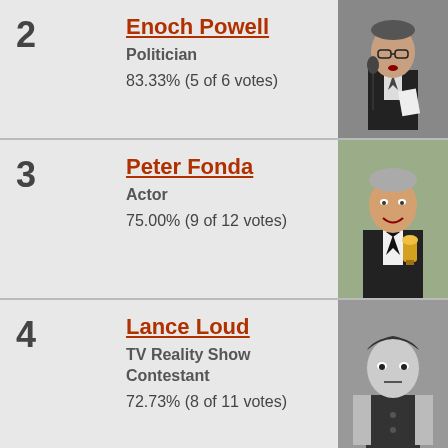2 - Enoch Powell, Politician, 83.33% (5 of 6 votes)
3 - Peter Fonda, Actor, 75.00% (9 of 12 votes)
4 - Lance Loud, TV Reality Show Contestant, 72.73% (8 of 11 votes)
5 - Ralph Richardson